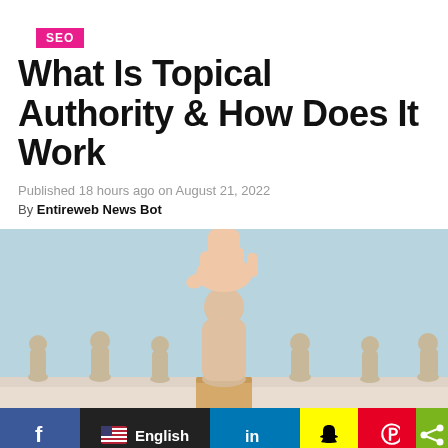SEO
What Is Topical Authority & How Does It Work
Published 18 hours ago on August 21, 2022
By Entireweb News Bot
[Figure (photo): A hand placing a wooden peg figure on a raised block pedestal, surrounded by other wooden peg figures on a light surface with blue background — representing leadership or selection concept.]
f  English  in  [Snapchat]  [Pinterest]  [Share]